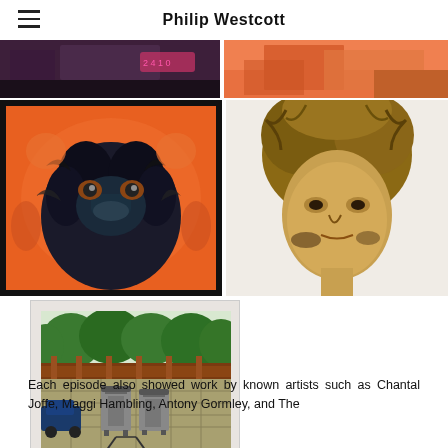Philip Westcott
[Figure (photo): Top row: partial view of two artworks — left shows a dark scene with neon signs, right shows an orange painting with a figure]
[Figure (photo): Framed painting of an emu face close-up against an orange background, with black frame]
[Figure (photo): Portrait painting of a man with wild hair in warm golden/brown tones, unframed on white wall]
[Figure (photo): Framed artwork showing a street scene with wheelie bins, a fence, and hedgerow, white frame]
Each episode also showed work by known artists such as Chantal Joffe, Maggi Hambling, Antony Gormley, and The